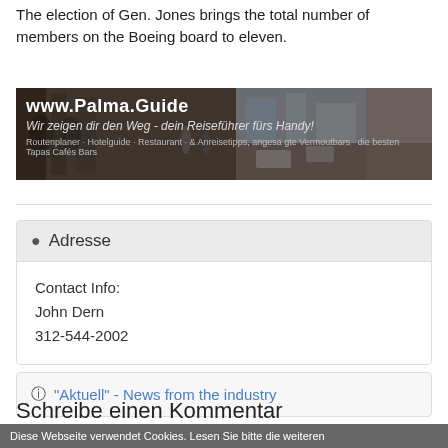The election of Gen. Jones brings the total number of members on the Boeing board to eleven.
[Figure (screenshot): Banner ad for www.Palma.Guide with dark background and city street photo. Text: 'www.Palma.Guide - Wir zeigen dir den Weg - dein Reiseführer fürs Handy! Routenplaner · Hotelguide · Restaurant · & Anreisetipps, angesa gte Vermoutbars · die besten Tapas Cafés Bars']
Contact Info:
John Dern
312-544-2002
"Aktuell" - News from the industry
Schreibe einen Kommentar
Diese Webseite verwendet Cookies. Lesen Sie bitte die weiteren